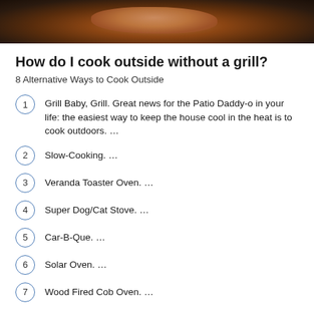[Figure (photo): Close-up photo of a piece of meat cooking on a dark grill or pan, with seasoning visible, dark background]
How do I cook outside without a grill?
8 Alternative Ways to Cook Outside
1. Grill Baby, Grill. Great news for the Patio Daddy-o in your life: the easiest way to keep the house cool in the heat is to cook outdoors. …
2. Slow-Cooking. …
3. Veranda Toaster Oven. …
4. Super Dog/Cat Stove. …
5. Car-B-Que. …
6. Solar Oven. …
7. Wood Fired Cob Oven. …